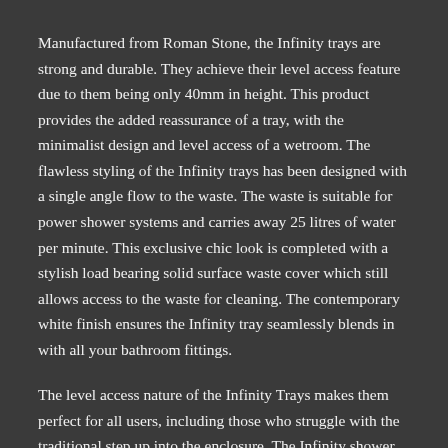Manufactured from Roman Stone, the Infinity trays are strong and durable. They achieve their level access feature due to them being only 40mm in height. This product provides the added reassurance of a tray, with the minimalist design and level access of a wetroom. The flawless styling of the Infinity trays has been designed with a single angle flow to the waste. The waste is suitable for power shower systems and carries away 25 litres of water per minute. This exclusive chic look is completed with a stylish load bearing solid surface waste cover which still allows access to the waste for cleaning. The contemporary white finish ensures the Infinity tray seamlessly blends in with all your bathroom fittings.
The level access nature of the Infinity Trays makes them perfect for all users, including those who struggle with the traditional step up into the enclosure. The Infinity shower trays mean that you can create a style statement whilst still having a practical easy access space.